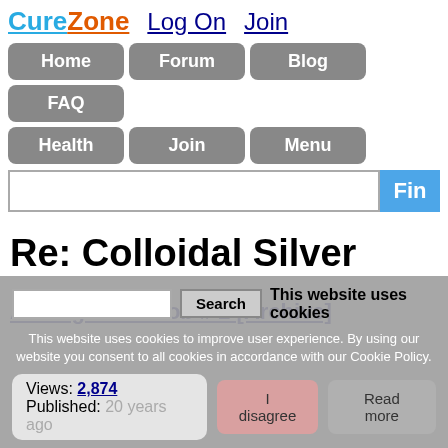CureZone  Log On  Join
Home  Forum  Blog  FAQ  Health  Join  Menu
Re: Colloidal Silver
Ask Agnes & Bob # 2 [Archive]
This website uses cookies
This website uses cookies to improve user experience. By using our website you consent to all cookies in accordance with our Cookie Policy.
Views: 2,874
Published: 20 years ago